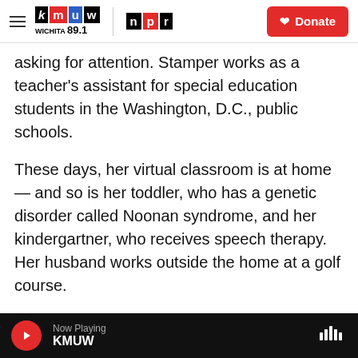KMUW WICHITA 89.1 | NPR | Donate
asking for attention. Stamper works as a teacher's assistant for special education students in the Washington, D.C., public schools.
These days, her virtual classroom is at home — and so is her toddler, who has a genetic disorder called Noonan syndrome, and her kindergartner, who receives speech therapy. Her husband works outside the home at a golf course.
Stamper says her older son can't sit still for three to four hours a day of screen-based learning. The other day, while she was working, he started acting
Now Playing KMUW